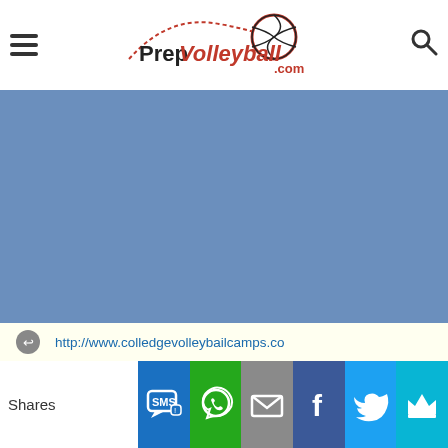[Figure (logo): PrepVolleyball.com logo with volleyball graphic]
[Figure (photo): Blue background image area - main content photo placeholder]
http://www.colledgevolleybailcamps.co
Shares
[Figure (infographic): Social share buttons row: SMS (blue), WhatsApp (green), Email (gray), Facebook (dark blue), Twitter (light blue), Crown/other (cyan)]